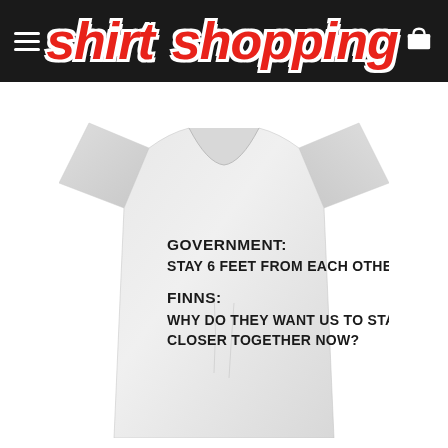shirt shopping
[Figure (photo): White t-shirt with text: GOVERNMENT: STAY 6 FEET FROM EACH OTHER / FINNS: WHY DO THEY WANT US TO STAND CLOSER TOGETHER NOW?]